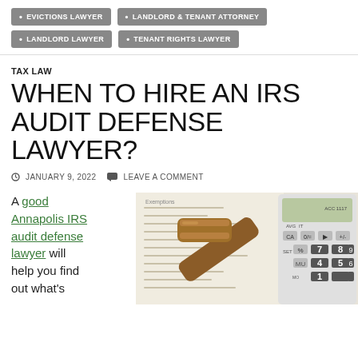• EVICTIONS LAWYER
• LANDLORD & TENANT ATTORNEY
• LANDLORD LAWYER
• TENANT RIGHTS LAWYER
TAX LAW
WHEN TO HIRE AN IRS AUDIT DEFENSE LAWYER?
JANUARY 9, 2022  LEAVE A COMMENT
A good Annapolis IRS audit defense lawyer will help you find out what's
[Figure (photo): A judge's gavel resting on tax forms next to a calculator]